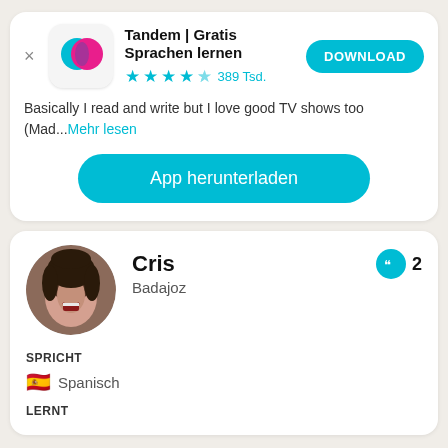[Figure (screenshot): Tandem app icon with overlapping teal and pink speech bubble circles on white rounded square background]
Tandem | Gratis Sprachen lernen
★★★★½ 389Tsd.
DOWNLOAD
Basically I read and write but I love good TV shows too (Mad...Mehr lesen
App herunterladen
[Figure (photo): Profile photo of Cris, a young woman with dark curly hair, smiling]
Cris
Badajoz
2
SPRICHT
🇪🇸 Spanisch
LERNT